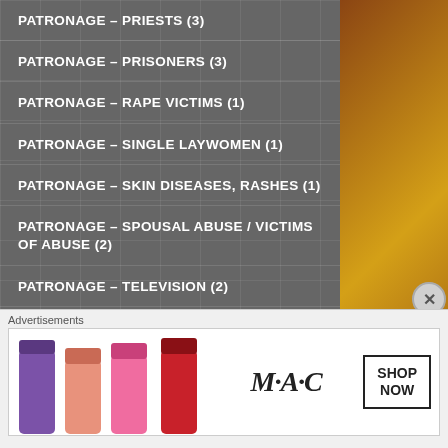PATRONAGE – PRIESTS (3)
PATRONAGE – PRISONERS (3)
PATRONAGE – RAPE VICTIMS (1)
PATRONAGE – SINGLE LAYWOMEN (1)
PATRONAGE – SKIN DISEASES, RASHES (1)
PATRONAGE – SPOUSAL ABUSE / VICTIMS OF ABUSE (2)
PATRONAGE – TELEVISION (2)
PATRONAGE – THE SICK, THE INFIRM, ALL ILLNESS (5)
PATRONAGE – TRAVELLERS / MOTORISTS (3)
PATRONAGE – UNEMPLOYED (2)
Advertisements